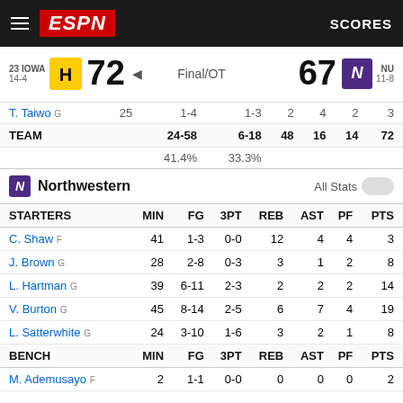ESPN  SCORES
| 23 IOWA 14-4 | 72 | Final/OT | 67 | NU 11-8 |
|  | FG | 3PT | REB | AST | PF | PTS |
| --- | --- | --- | --- | --- | --- | --- |
| T. Taiwo | 25 | 1-4 | 1-3 | 2 | 4 | 2 | 3 |
| TEAM | 24-58 | 6-18 | 48 | 16 | 14 | 72 |
|  | 41.4% | 33.3% |  |  |  |  |
Northwestern  All Stats
| STARTERS | MIN | FG | 3PT | REB | AST | PF | PTS |
| --- | --- | --- | --- | --- | --- | --- | --- |
| C. Shaw F | 41 | 1-3 | 0-0 | 12 | 4 | 4 | 3 |
| J. Brown G | 28 | 2-8 | 0-3 | 3 | 1 | 2 | 8 |
| L. Hartman G | 39 | 6-11 | 2-3 | 2 | 2 | 2 | 14 |
| V. Burton G | 45 | 8-14 | 2-5 | 6 | 7 | 4 | 19 |
| L. Satterwhite G | 24 | 3-10 | 1-6 | 3 | 2 | 1 | 8 |
| BENCH | MIN | FG | 3PT | REB | AST | PF | PTS |
| M. Ademusayo F | 2 | 1-1 | 0-0 | 0 | 0 | 0 | 2 |